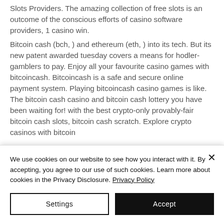Slots Providers. The amazing collection of free slots is an outcome of the conscious efforts of casino software providers, 1 casino win. Bitcoin cash (bch, ) and ethereum (eth, ) into its tech. But its new patent awarded tuesday covers a means for hodler-gamblers to pay. Enjoy all your favourite casino games with bitcoincash. Bitcoincash is a safe and secure online payment system. Playing bitcoincash casino games is like. The bitcoin cash casino and bitcoin cash lottery you have been waiting for! with the best crypto-only provably-fair bitcoin cash slots, bitcoin cash scratch. Explore crypto casinos with bitcoin
We use cookies on our website to see how you interact with it. By accepting, you agree to our use of such cookies. Learn more about cookies in the Privacy Disclosure. Privacy Policy
Settings
Accept